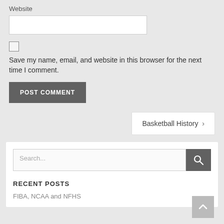Website
Save my name, email, and website in this browser for the next time I comment.
POST COMMENT
Basketball History ›
Search...
RECENT POSTS
FIBA, NCAA and NFHS